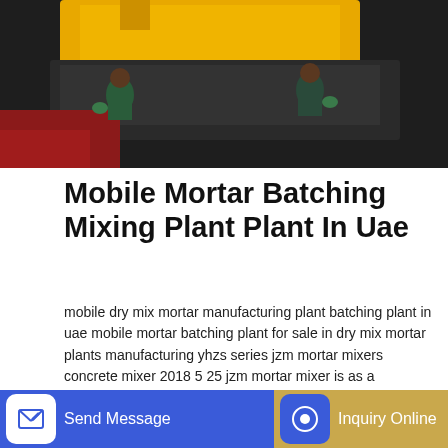[Figure (photo): Industrial batching plant scene with yellow heavy machinery and workers in hard hats and gloves]
Mobile Mortar Batching Mixing Plant Plant In Uae
mobile dry mix mortar manufacturing plant batching plant in uae mobile mortar batching plant for sale in dry mix mortar plants manufacturing yhzs series jzm mortar mixers concrete mixer 2018 5 25 jzm mortar mixer is as a professional manufacturer and supplier of stationary concrete batching plants our company diesel mobile concrete mixer; jzm
GET A QUOTE
[Figure (photo): Green concrete mixer machine in a warehouse or industrial setting]
Send Message
Inquiry Online